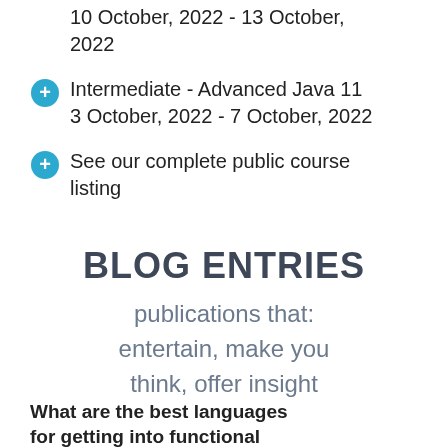10 October, 2022 - 13 October, 2022
Intermediate - Advanced Java 11
3 October, 2022 - 7 October, 2022
See our complete public course listing
BLOG ENTRIES
publications that:
entertain, make you think, offer insight
What are the best languages for getting into functional